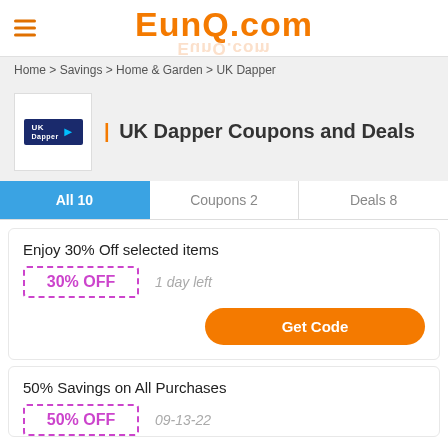EunQ.com
Home > Savings > Home & Garden > UK Dapper
UK Dapper Coupons and Deals
All 10   Coupons 2   Deals 8
Enjoy 30% Off selected items
30% OFF   1 day left
Get Code
50% Savings on All Purchases
50% OFF   09-13-22